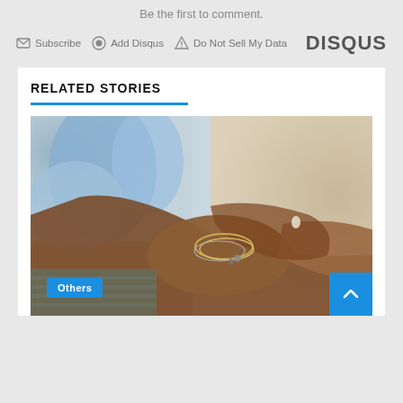Be the first to comment.
Subscribe  Add Disqus  Do Not Sell My Data  DISQUS
RELATED STORIES
[Figure (photo): Close-up photo of a person's hand and wrist wearing bracelets, with a blue shirt in the background. A blue 'Others' badge is overlaid at the bottom left.]